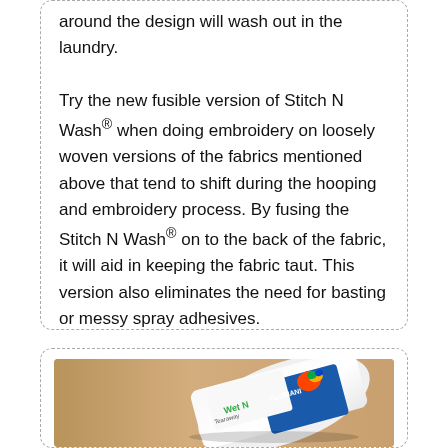around the design will wash out in the laundry.

Try the new fusible version of Stitch N Wash® when doing embroidery on loosely woven versions of the fabrics mentioned above that tend to shift during the hooping and embroidery process. By fusing the Stitch N Wash® on to the back of the fabric, it will aid in keeping the fabric taut. This version also eliminates the need for basting or messy spray adhesives.
[Figure (photo): A roll of Floriani Wet N Stay Tearaway stabilizer product, shown at an angle on a light wooden surface, with a colorful parrot logo visible on the label.]